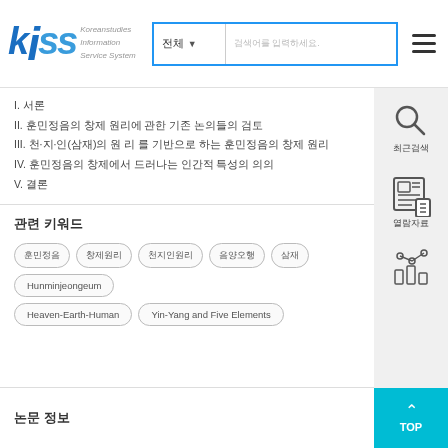[Figure (logo): KISS Koreanstudies Information Service System logo with blue stylized letters]
I. 서론
II. 훈민정음의 창제 원리에 관한 기존 논의들의 검토
III. 천·지·인(삼재)의 원 리 를 기반으로 하는 훈민정음의 창제 원리
IV. 훈민정음의 창제에서 드러나는 인간적 특성의 의의
V. 결론
관련 키워드
훈민정음  창제원리  천지인원리  음양오행  삼재  Hunminjeongeum
Heaven-Earth-Human  Yin-Yang and Five Elements
논문 정보